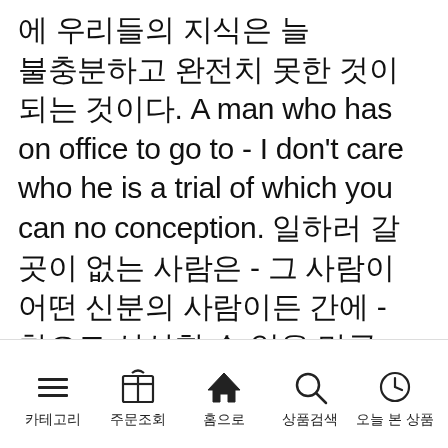에 우리들의 지식은 늘 불충분하고 완전치 못한 것이 되는 것이다. A man who has on office to go to - I don't care who he is a trial of which you can no conception. 일하러 갈 곳이 없는 사람은 - 그 사람이 어떤 신분의 사람이든 간에 - 참으로 상상할 수 없을 만큼 골치 아픈 존재다. A man who is master of himself can end a sorrow as
[Figure (other): Mobile app navigation bar with five icons and labels: 카테고리 (hamburger menu), 주문조회 (gift box), 홈으로 (home), 상품검색 (search), 오늘 본 상품 (clock/history)]